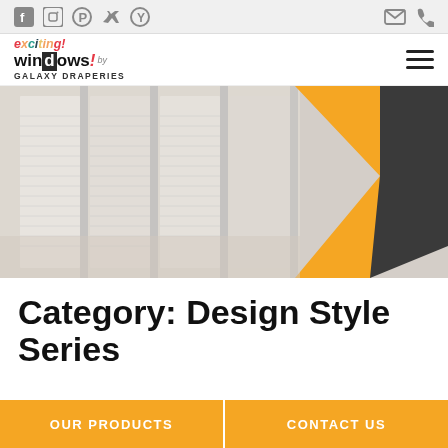Social icons: Facebook, Instagram, Pinterest, Twitter, Yelp | Contact icons: Email, Phone
[Figure (logo): Exciting Windows! by Galaxy Draperies logo with colorful text]
[Figure (photo): Hero banner image showing white cellular/honeycomb window blinds on large windows with an orange and dark gray geometric overlay design on the right side]
Category: Design Style Series
OUR PRODUCTS
CONTACT US